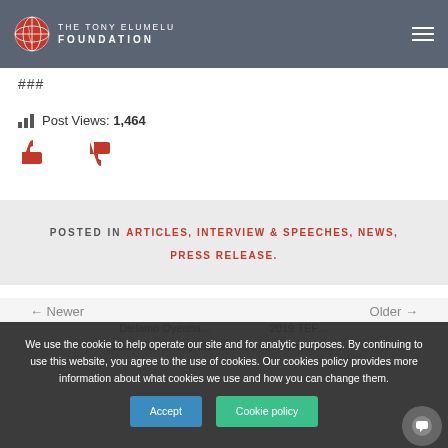The Tony Elumelu Foundation
###
Post Views: 1,464
POSTED IN ARTICLES, INTERVIEW & SPEECHES, NEWS, PRESS RELEASE.
We use the cookie to help operate our site and for analytic purposes. By continuing to use this website, you agree to the use of cookies. Our cookies policy provides more information about what cookies we use and how you can change them.
← Newer   Older →
Dielamo Oyeaba... 2019 TEF... Becomes a Tony Elumelu... Entrepreneurship